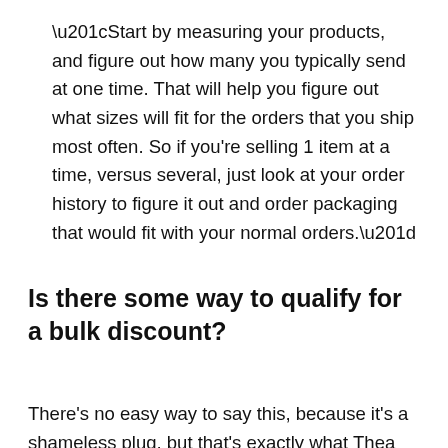“Start by measuring your products, and figure out how many you typically send at one time. That will help you figure out what sizes will fit for the orders that you ship most often. So if you're selling 1 item at a time, versus several, just look at your order history to figure it out and order packaging that would fit with your normal orders.”
Is there some way to qualify for a bulk discount?
There’s no easy way to say this, because it’s a shameless plug, but that’s exactly what Thea